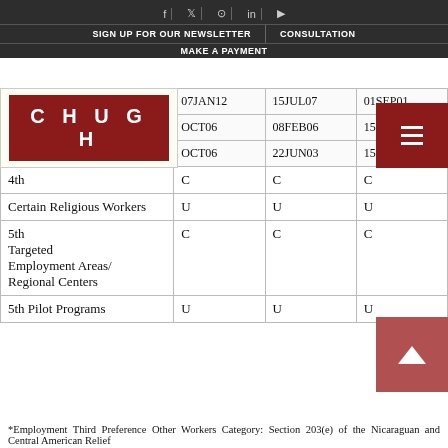SIGN UP FOR OUR NEWSLETTER | CONSULTATION | MAKE A PAYMENT
[Figure (logo): CHUGH law firm logo in white text on dark red background]
| Category | All Chargeability Areas Except Those Listed | CHINA-mainland born | INDIA |
| --- | --- | --- | --- |
|  | 07JAN12 | 15JUL07 | 01SEP01 |
|  | OCT06 | 08FEB06 | 15C... |
|  | OCT06 | 22JUN03 | 15C... |
| 4th | C | C | C |
| Certain Religious Workers | U | U | U |
| 5th Targeted Employment Areas/ Regional Centers | C | C | C |
| 5th Pilot Programs | U | U | U |
*Employment Third Preference Other Workers Category: Section 203(e) of the Nicaraguan and Central American Relief